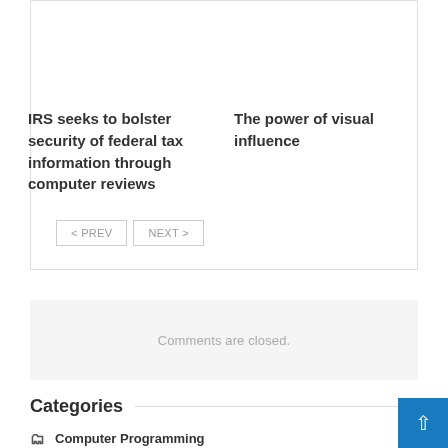IRS seeks to bolster security of federal tax information through computer reviews
The power of visual influence
< PREV   NEXT >
Comments are closed.
Categories
Computer Programming